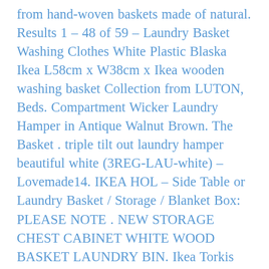from hand-woven baskets made of natural. Results 1 – 48 of 59 – Laundry Basket Washing Clothes White Plastic Blaska Ikea L58cm x W38cm x Ikea wooden washing basket Collection from LUTON, Beds. Compartment Wicker Laundry Hamper in Antique Walnut Brown. The Basket . triple tilt out laundry hamper beautiful white (3REG-LAU-white) – Lovemade14. IKEA HOL – Side Table or Laundry Basket / Storage / Blanket Box: PLEASE NOTE . NEW STORAGE CHEST CABINET WHITE WOOD BASKET LAUNDRY BIN. Ikea Torkis Laundry Basket White Gray 903.199.75 Size 3043 oz. by Ikea. £25.52+ £23.00 delivery. Only 15 left in stock – order soon. Products 1 – 30 of 64 – Linen baskets and laundry bins. Laundry basket and bags at Argos. Get it today. . Argos Home 30 Litre Round Laundry Basket – White. IKEA ALGOT